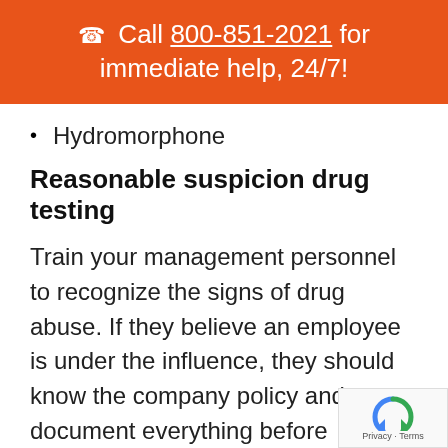☎ Call 800-851-2021 for immediate help, 24/7!
Hydromorphone
Reasonable suspicion drug testing
Train your management personnel to recognize the signs of drug abuse. If they believe an employee is under the influence, they should know the company policy and document everything before approaching that